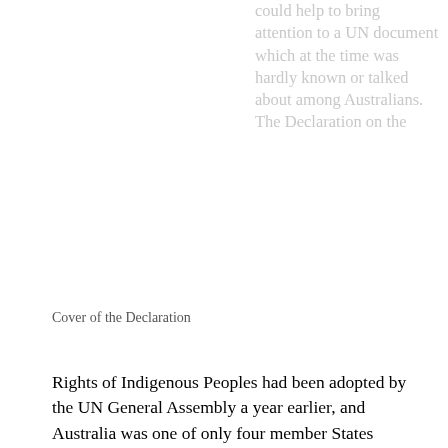could help to bring attention to a UN document which at the time was hardly known or talked about among Australians. The Declaration on the Rights of Indigenous Peoples had been adopted by the UN General Assembly a year earlier, and Australia was one of only four member States worldwide to oppose it. This Declaration describes human rights applied to the
Cover of the Declaration
Rights of Indigenous Peoples had been adopted by the UN General Assembly a year earlier, and Australia was one of only four member States worldwide to oppose it. This Declaration describes human rights applied to the